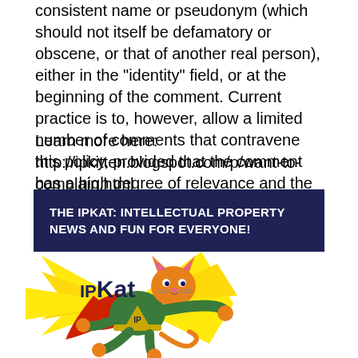consistent name or pseudonym (which should not itself be defamatory or obscene, or that of another real person), either in the "identity" field, or at the beginning of the comment. Current practice is to, however, allow a limited number of comments that contravene this policy, provided that the comment has a high degree of relevance and the comment chain does not become too difficult to follow.
Learn more here: http://ipkitten.blogspot.com/p/want-to-complain.html
THE IPKAT: INTELLECTUAL PROPERTY NEWS AND FUN FOR EVERYONE!
[Figure (illustration): IPKat mascot: cartoon orange cat in superhero costume (green outfit with red cape, yellow belt with triangular buckle labeled IP) flying/leaping with yellow speed lines and the text 'IPKat' in dark blue]